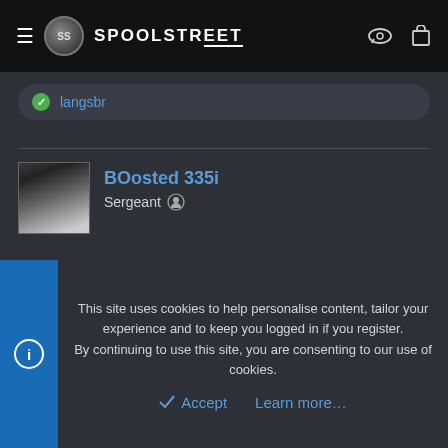SS SPOOLSTREET
langsbr
BOosted 335i
Sergeant
Apr 6, 2018  #17
Making some good progress.redid drain return.now has tephlon tape unlike before it had none and was only screwed
This site uses cookies to help personalise content, tailor your experience and to keep you logged in if you register.
By continuing to use this site, you are consenting to our use of cookies.
Accept  Learn more...